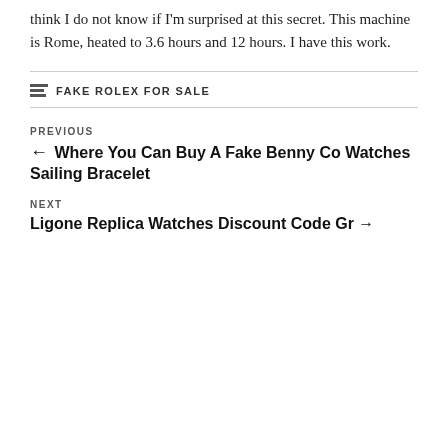think I do not know if I'm surprised at this secret. This machine is Rome, heated to 3.6 hours and 12 hours. I have this work.
FAKE ROLEX FOR SALE
PREVIOUS
← Where You Can Buy A Fake Benny Co Watches Sailing Bracelet
NEXT
Ligone Replica Watches Discount Code Gr →